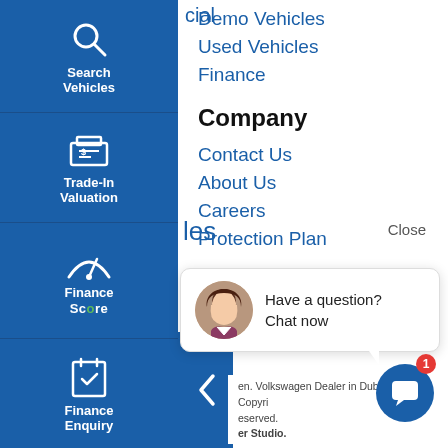[Figure (screenshot): Volkswagen dealer website navigation screenshot showing sidebar icons (Search Vehicles, Trade-In Valuation, Finance Score, Finance Enquiry, Test Drive, Click To Buy) and right-side menu links (Demo Vehicles, Used Vehicles, Finance, Company, Contact Us, About Us, Careers, Protection Plan) plus a chat popup widget]
Search Vehicles
Trade-In Valuation
Finance Score
Finance Enquiry
Test Drive
Click To Buy
Demo Vehicles
Used Vehicles
Finance
Company
Contact Us
About Us
Careers
Protection Plan
Close
Have a question? Chat now
en. Volkswagen Dealer in Dubbo NSW. Copyri... eserved. er Studio.